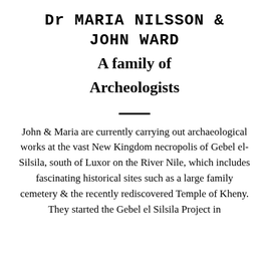Dr MARIA NILSSON & JOHN WARD
A family of Archeologists
John & Maria are currently carrying out archaeological works at the vast New Kingdom necropolis of Gebel el-Silsila, south of Luxor on the River Nile, which includes fascinating historical sites such as a large family cemetery & the recently rediscovered Temple of Kheny. They started the Gebel el Silsila Project in